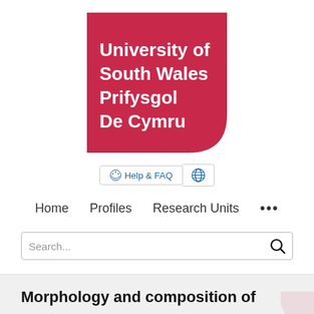[Figure (logo): University of South Wales / Prifysgol De Cymru logo — crimson/red rounded square with white bold text reading 'University of South Wales Prifysgol De Cymru']
Help & FAQ
Home   Profiles   Research Units   ...
Search...
Morphology and composition of